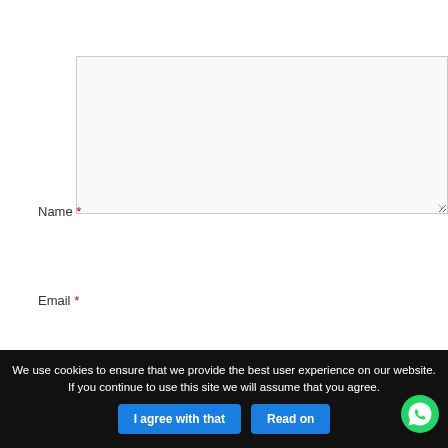[Figure (screenshot): Large text area input box, empty, with resize handle at bottom-right corner]
Name *
[Figure (screenshot): Name text input field, empty]
Email *
[Figure (screenshot): Email text input field, empty]
We use cookies to ensure that we provide the best user experience on our website. If you continue to use this site we will assume that you agree.
I agree with that
Read on